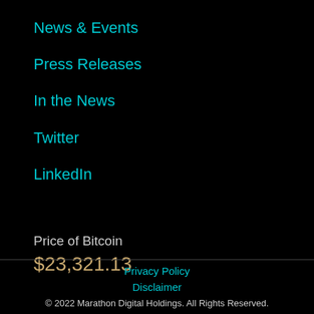News & Events
Press Releases
In the News
Twitter
LinkedIn
Price of Bitcoin
$23,321.13
Privacy Policy
Disclaimer
© 2022 Marathon Digital Holdings. All Rights Reserved.